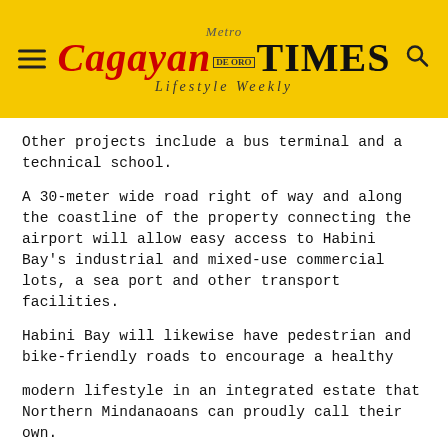Metro Cagayan de Oro Times – Lifestyle Weekly
Other projects include a bus terminal and a technical school.
A 30-meter wide road right of way and along the coastline of the property connecting the airport will allow easy access to Habini Bay's industrial and mixed-use commercial lots, a sea port and other transport facilities.
Habini Bay will likewise have pedestrian and bike-friendly roads to encourage a healthy
modern lifestyle in an integrated estate that Northern Mindanaoans can proudly call their own.